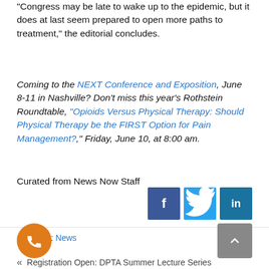“Congress may be late to wake up to the epidemic, but it does at last seem prepared to open more paths to treatment,” the editorial concludes.
Coming to the NEXT Conference and Exposition, June 8-11 in Nashville? Don’t miss this year’s Rothstein Roundtable, “Opioids Versus Physical Therapy: Should Physical Therapy be the FIRST Option for Pain Management?,” Friday, June 10, at 8:00 am.
Curated from News Now Staff
[Figure (infographic): Social media share buttons: Facebook (f), Twitter (bird icon), LinkedIn (in)]
Category: News
[Figure (other): Orange circular phone/call button]
[Figure (other): Gray scroll-to-top button with upward chevron]
« Registration Open: DPTA Summer Lecture Series